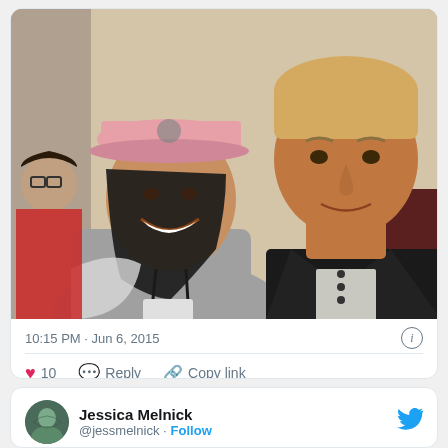[Figure (photo): Two people posing for a photo. A woman on the left wearing a pink baseball cap and a lanyard with what appears to be an HBO/SXSW badge, and a tall blonde man on the right wearing a black leather jacket over a white shirt. A person with glasses is visible in the background on the left.]
10:15 PM · Jun 6, 2015
❤ 10   Reply   Copy link
Read 1 reply
Jessica Melnick
@jessmelnick · Follow